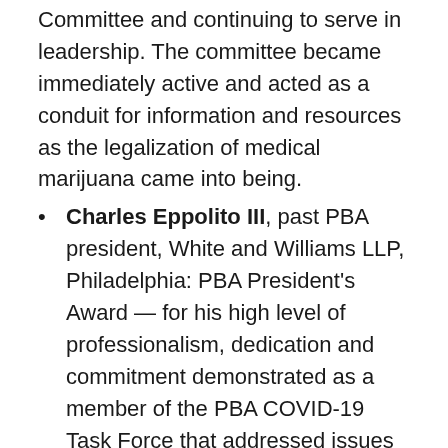Committee and continuing to serve in leadership. The committee became immediately active and acted as a conduit for information and resources as the legalization of medical marijuana came into being.
Charles Eppolito III, past PBA president, White and Williams LLP, Philadelphia: PBA President's Award — for his high level of professionalism, dedication and commitment demonstrated as a member of the PBA COVID-19 Task Force that addressed issues impacting the legal profession during the pandemic. Task force members were instrumental in developing